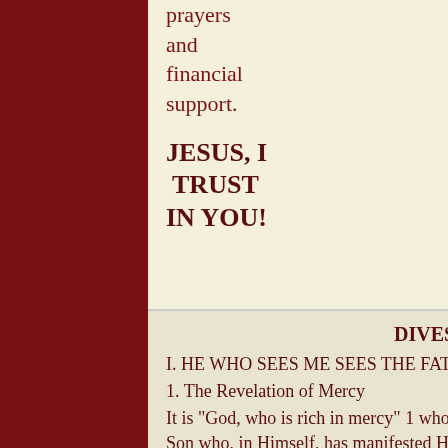prayers and financial support.
JESUS, I TRUST IN YOU!
Send your donation directly to:
DIVES IN MISERICORDIA
I. HE WHO SEES ME SEES THE FATHER (cf. John 14:9)
1. The Revelation of Mercy
It is "God, who is rich in mercy" 1 whom Jesus Christ has revealed to us as Father: it is His very Son who, in Himself, has manifested Him and made Him known to us.2 Memorable in this regard is the moment when Philip, one of the twelve Apostles, turned to Christ and